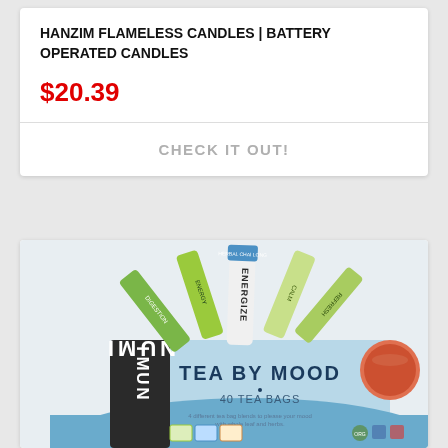HANZIM FLAMELESS CANDLES | BATTERY OPERATED CANDLES
$20.39
CHECK IT OUT!
[Figure (photo): Numi Tea by Mood tea box with 40 tea bags, showing various tea bag varieties fanned out from the top of the box with ENERGIZE label visible]